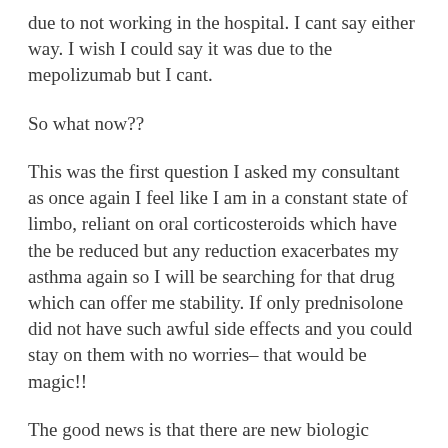due to not working in the hospital. I cant say either way. I wish I could say it was due to the mepolizumab but I cant.
So what now??
This was the first question I asked my consultant as once again I feel like I am in a constant state of limbo, reliant on oral corticosteroids which have the be reduced but any reduction exacerbates my asthma again so I will be searching for that drug which can offer me stability. If only prednisolone did not have such awful side effects and you could stay on them with no worries– that would be magic!!
The good news is that there are new biologic treatments out there. There is Fasenra (benralizumab) which I doubt I will be eligible for. I